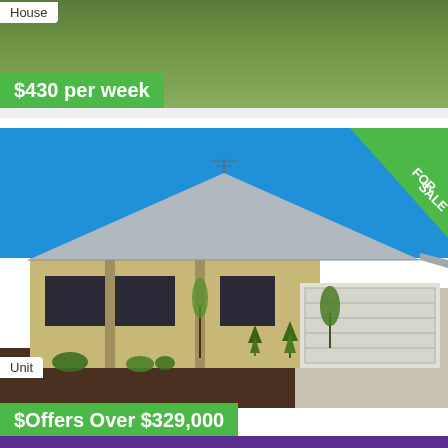[Figure (photo): Top portion of a house listing showing grass/lawn area, with House label and $430 per week price bar]
House
$430 per week
[Figure (photo): Unit for sale photo showing a modern single-story brick home with metal roof, landscaped garden beds, and driveway with garage. FOR SALE badge in top right corner.]
Unit
$Offers Over $329,000